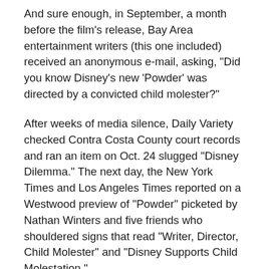And sure enough, in September, a month before the film's release, Bay Area entertainment writers (this one included) received an anonymous e-mail, asking, "Did you know Disney's new 'Powder' was directed by a convicted child molester?"
After weeks of media silence, Daily Variety checked Contra Costa County court records and ran an item on Oct. 24 slugged "Disney Dilemma." The next day, the New York Times and Los Angeles Times reported on a Westwood preview of "Powder" picketed by Nathan Winters and five friends who shouldered signs that read "Writer, Director, Child Molester" and "Disney Supports Child Molestation."
Salva's friends and handlers attempted to defuse the situation by evoking the names Tim Allen (who did 20